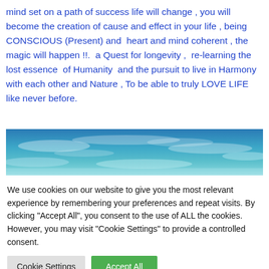mind set on a path of success life will change , you will become the creation of cause and effect in your life , being CONSCIOUS (Present) and heart and mind coherent , the magic will happen !!.  a Quest for longevity ,  re-learning the lost essence  of Humanity  and the pursuit to live in Harmony with each other and Nature , To be able to truly LOVE LIFE like never before.
[Figure (photo): A wide panoramic photograph of a blue sky with wispy clouds and a teal/aqua horizon, cropped to a landscape banner shape.]
We use cookies on our website to give you the most relevant experience by remembering your preferences and repeat visits. By clicking "Accept All", you consent to the use of ALL the cookies. However, you may visit "Cookie Settings" to provide a controlled consent.